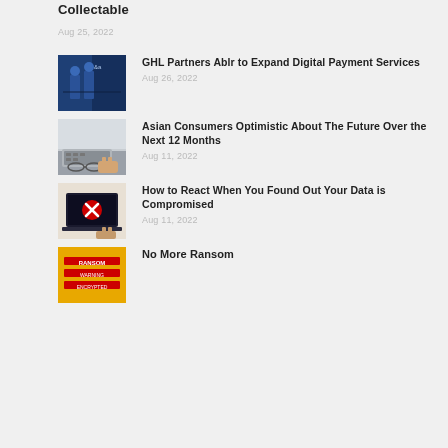Collectable
Aug 25, 2022
[Figure (photo): Two people standing in front of banners with logos]
GHL Partners Ablr to Expand Digital Payment Services
Aug 26, 2022
[Figure (photo): Person using keyboard with glasses on desk]
Asian Consumers Optimistic About The Future Over the Next 12 Months
Aug 11, 2022
[Figure (photo): Laptop with security breach warning screen, person typing]
How to React When You Found Out Your Data is Compromised
Aug 11, 2022
[Figure (photo): Yellow background with red text - ransomware screen]
No More Ransom